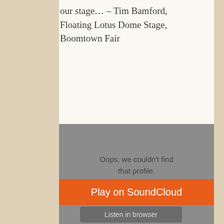our stage…  – Tim Bamford, Floating Lotus Dome Stage, Boomtown Fair
[Figure (screenshot): SoundCloud embedded player widget showing an error state: 'Oops, we couldn't find that profile.' with SoundCloud logo, an orange 'Play on SoundCloud' button, and a grey 'Listen in browser' button.]